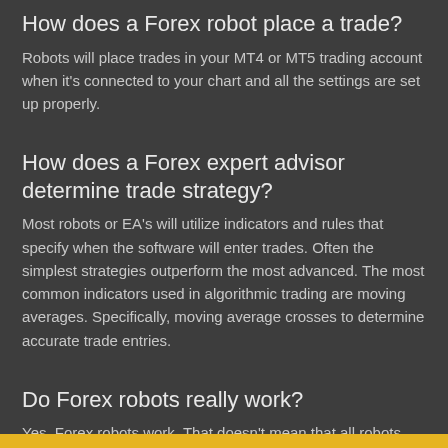How does a Forex robot place a trade?
Robots will place trades in your MT4 or MT5 trading account when it's connected to your chart and all the settings are set up properly.
How does a Forex expert advisor determine trade strategy?
Most robots or EA's will utilize indicators and rules that specify when the software will enter trades. Often the simplest strategies outperform the most advanced. The most common indicators used in algorithmic trading are moving averages. Specifically, moving average crosses to determine accurate trade entries.
Do Forex robots really work?
Yes. Forex robots work. That doesn't mean that all robots are profitable, but if programmed properly they will execute a strategy and place trades in your account. It's also worth noting that just because a strategy performs well for a certain period of time, doesn't mean it will always keep going... The market is